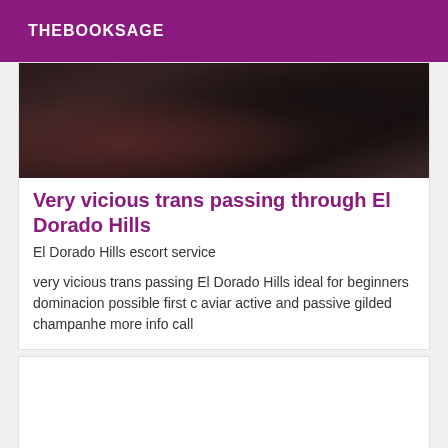THEBOOKSAGE
[Figure (photo): Dark blurry photo showing hair and dark objects, top portion of an article card]
Very vicious trans passing through El Dorado Hills
El Dorado Hills escort service
very vicious trans passing El Dorado Hills ideal for beginners dominacion possible first c aviar active and passive gilded champanhe more info call